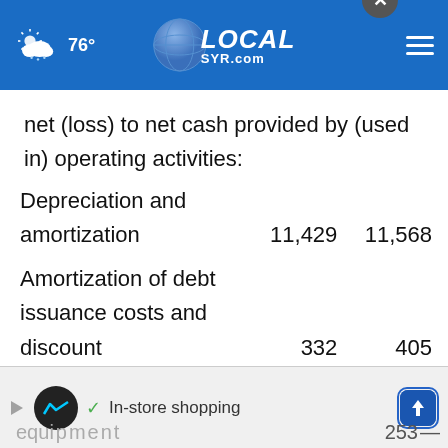76° LOCALsyr.com
net (loss) to net cash provided by (used in) operating activities:
| Description | Col1 | Col2 |
| --- | --- | --- |
| Depreciation and amortization | 11,429 | 11,568 |
| Amortization of debt issuance costs and discount | 332 | 405 |
| Impairments of pro... equipment | 253 | — |